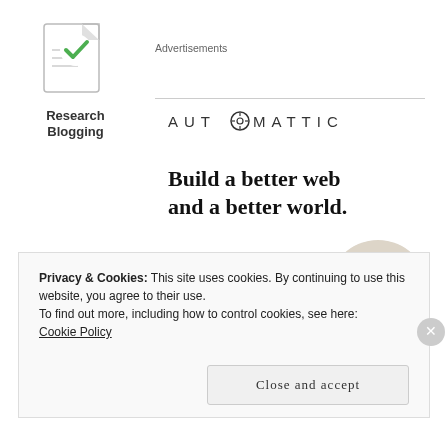[Figure (logo): Research Blogging logo: document icon with green checkmark, bold text below reading 'Research Blogging']
Advertisements
[Figure (logo): Automattic logo in uppercase spaced letters with a small clock/target icon replacing the O]
Build a better web and a better world.
[Figure (illustration): Blue 'Apply' button]
[Figure (photo): Circular cropped photo of a man thinking, looking upward, wearing a beige shirt]
REPORT THIS AD
Privacy & Cookies: This site uses cookies. By continuing to use this website, you agree to their use.
To find out more, including how to control cookies, see here:
Cookie Policy
Close and accept